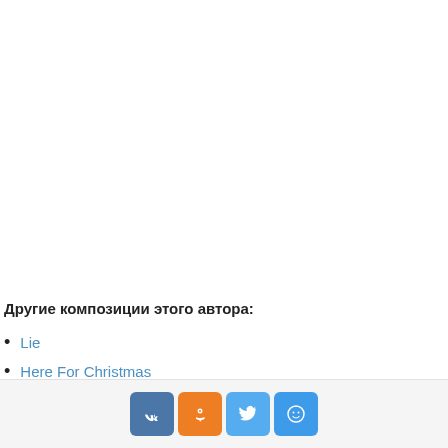Другие композиции этого автора:
Lie
Here For Christmas
Social share buttons: VK, OK, Twitter, My